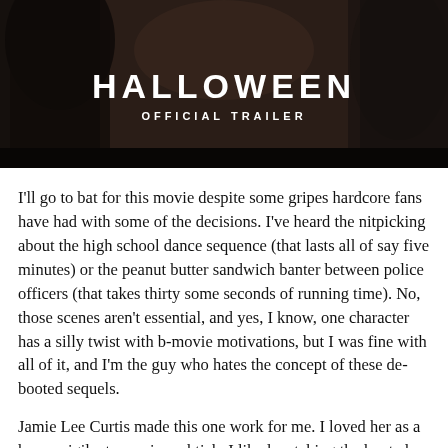[Figure (screenshot): Movie trailer thumbnail for Halloween (2018) showing a dark figure with text 'HALLOWEEN' and 'OFFICIAL TRAILER' overlaid in white on a dark background.]
I'll go to bat for this movie despite some gripes hardcore fans have had with some of the decisions. I've heard the nitpicking about the high school dance sequence (that lasts all of say five minutes) or the peanut butter sandwich banter between police officers (that takes thirty some seconds of running time). No, those scenes aren't essential, and yes, I know, one character has a silly twist with b-movie motivations, but I was fine with all of it, and I'm the guy who hates the concept of these de-booted sequels.
Jamie Lee Curtis made this one work for me. I loved her as a hyper vigilante survivor shtick. I liked watching the hunted finally become the hunter. It gave the audience someone to